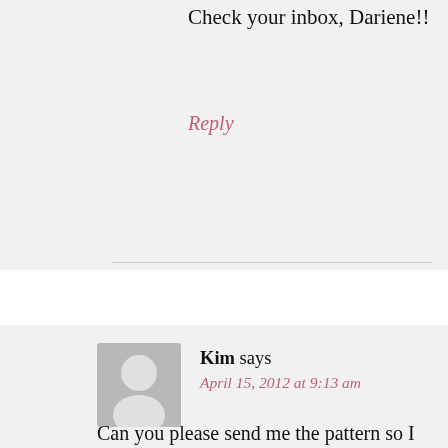Check your inbox, Dariene!!
Reply
Kim says
April 15, 2012 at 9:13 am
Can you please send me the pattern so I can do it for a friend’s baby. I am a beginner so I only understand written out patterns also not following when u turn do u mean turn your needles then do the next stitches n